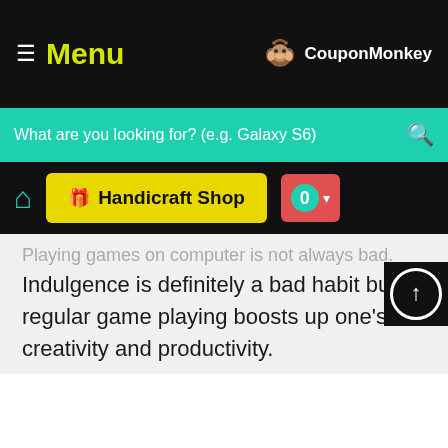Menu | CouponMonkey
[Figure (screenshot): Search bar with teal background and placeholder text: What are you looking for? (e.g. Galaxy S6)]
[Figure (screenshot): Toolbar with home icon, Handicraft Shop yellow button, and red cart button showing 0]
Playing games on computer is not always bad. Indulgence is definitely a bad habit but regular game playing boosts up one's creativity and productivity.